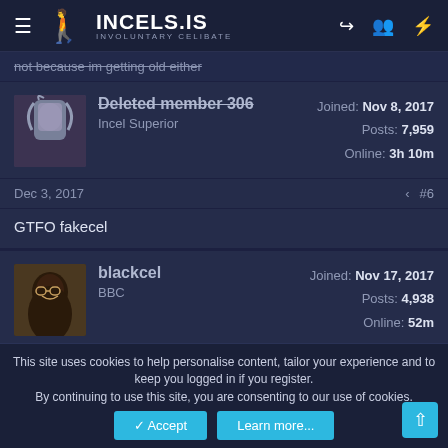INCELS.IS INVOLUNTARY CELIBATE
not because im getting old either
Deleted member 306
Incel Superior
Joined: Nov 8, 2017
Posts: 7,959
Online: 3h 10m
Dec 3, 2017  #6
GTFO fakecel
blackcel
BBC
Joined: Nov 17, 2017
Posts: 4,938
Online: 52m
This site uses cookies to help personalise content, tailor your experience and to keep you logged in if you register. By continuing to use this site, you are consenting to our use of cookies.